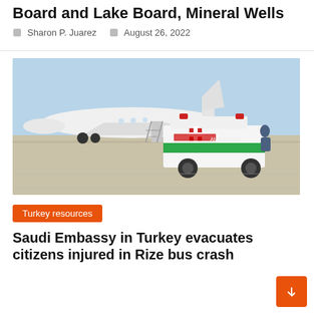Board and Lake Board, Mineral Wells
Sharon P. Juarez   August 26, 2022
[Figure (photo): An ambulance parked on an airport tarmac next to a white private jet with its stairs down. The ambulance has Arabic writing and a green stripe. Sandy/arid landscape visible in background.]
Turkey resources
Saudi Embassy in Turkey evacuates citizens injured in Rize bus crash